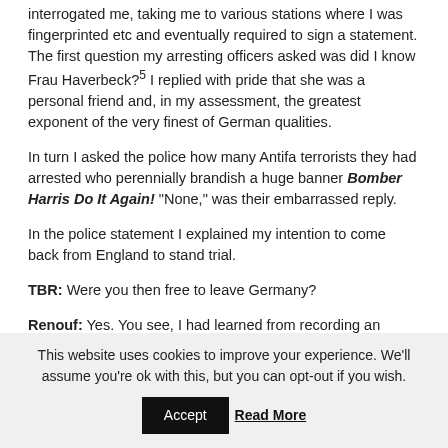interrogated me, taking me to various stations where I was fingerprinted etc and eventually required to sign a statement. The first question my arresting officers asked was did I know Frau Haverbeck?⁵ I replied with pride that she was a personal friend and, in my assessment, the greatest exponent of the very finest of German qualities.
In turn I asked the police how many Antifa terrorists they had arrested who perennially brandish a huge banner Bomber Harris Do It Again! "None," was their embarrassed reply.
In the police statement I explained my intention to come back from England to stand trial.
TBR: Were you then free to leave Germany?
Renouf: Yes. You see, I had learned from recording an interview with the late Viennese attorney Dr. Herbert Schaller for one of my Talking Film DVDs that...
This website uses cookies to improve your experience. We'll assume you're ok with this, but you can opt-out if you wish.